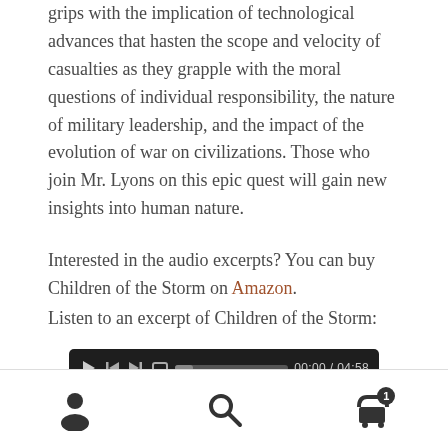grips with the implication of technological advances that hasten the scope and velocity of casualties as they grapple with the moral questions of individual responsibility, the nature of military leadership, and the impact of the evolution of war on civilizations. Those who join Mr. Lyons on this epic quest will gain new insights into human nature.
Interested in the audio excerpts? You can buy Children of the Storm on Amazon.
Listen to an excerpt of Children of the Storm:
[Figure (screenshot): Audio player bar showing play, rewind, fast-forward, and loop buttons, a progress bar, and time display showing 00:00 / 04:58. Below it reads 'WordPress Audio Player Free Version'.]